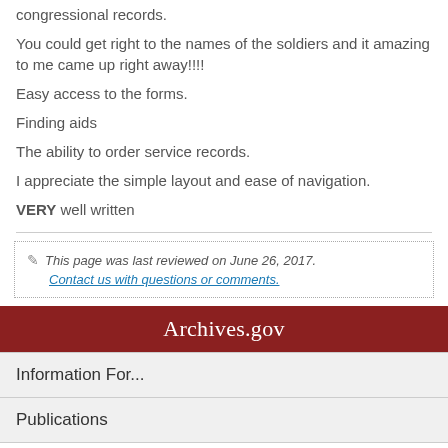congressional records.
You could get right to the names of the soldiers and it amazing to me came up right away!!!!
Easy access to the forms.
Finding aids
The ability to order service records.
I appreciate the simple layout and ease of navigation.
VERY well written
This page was last reviewed on June 26, 2017.
Contact us with questions or comments.
Archives.gov
Information For...
Publications